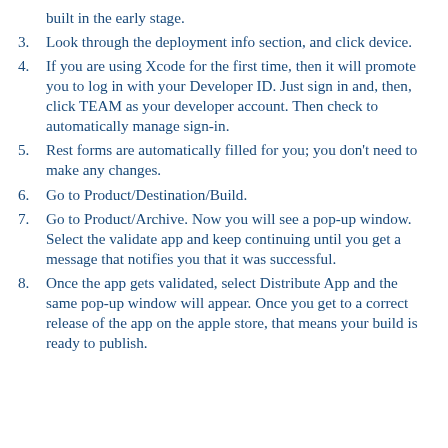built in the early stage.
3. Look through the deployment info section, and click device.
4. If you are using Xcode for the first time, then it will promote you to log in with your Developer ID. Just sign in and, then, click TEAM as your developer account. Then check to automatically manage sign-in.
5. Rest forms are automatically filled for you; you don't need to make any changes.
6. Go to Product/Destination/Build.
7. Go to Product/Archive. Now you will see a pop-up window. Select the validate app and keep continuing until you get a message that notifies you that it was successful.
8. Once the app gets validated, select Distribute App and the same pop-up window will appear. Once you get to a correct release of the app on the apple store, that means your build is ready to publish.